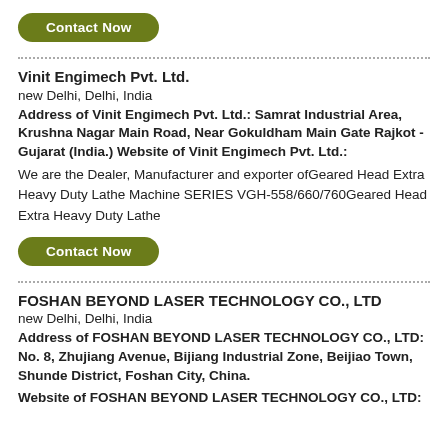Contact Now
Vinit Engimech Pvt. Ltd.
new Delhi, Delhi, India
Address of Vinit Engimech Pvt. Ltd.: Samrat Industrial Area, Krushna Nagar Main Road, Near Gokuldham Main Gate Rajkot - Gujarat (India.) Website of Vinit Engimech Pvt. Ltd.:
We are the Dealer, Manufacturer and exporter ofGeared Head Extra Heavy Duty Lathe Machine SERIES VGH-558/660/760Geared Head Extra Heavy Duty Lathe
Contact Now
FOSHAN BEYOND LASER TECHNOLOGY CO., LTD
new Delhi, Delhi, India
Address of FOSHAN BEYOND LASER TECHNOLOGY CO., LTD: No. 8, Zhujiang Avenue, Bijiang Industrial Zone, Beijiao Town, Shunde District, Foshan City, China.
Website of FOSHAN BEYOND LASER TECHNOLOGY CO., LTD: